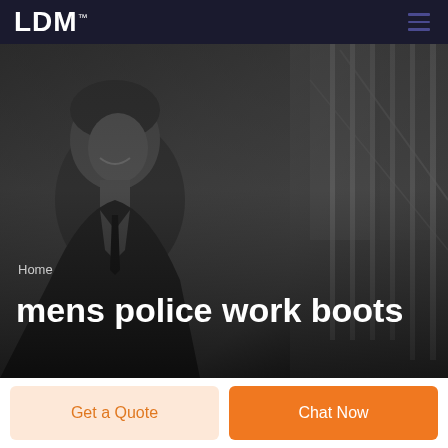LDM
[Figure (photo): Black and white photo of a smiling man in a suit, with a dark architectural background featuring vertical rod elements on the right side.]
Home
mens police work boots
Get a Quote
Chat Now